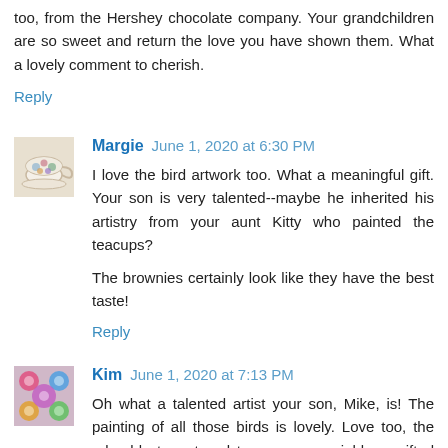too, from the Hershey chocolate company. Your grandchildren are so sweet and return the love you have shown them. What a lovely comment to cherish.
Reply
[Figure (photo): Avatar image of Margie - a decorative teacup with floral design]
Margie June 1, 2020 at 6:30 PM
I love the bird artwork too. What a meaningful gift. Your son is very talented--maybe he inherited his artistry from your aunt Kitty who painted the teacups?
The brownies certainly look like they have the best taste!
Reply
[Figure (photo): Avatar image of Kim - colorful floral pattern]
Kim June 1, 2020 at 7:13 PM
Oh what a talented artist your son, Mike, is! The painting of all those birds is lovely. Love too, the adorable teapot and teacup your neighbour gifted you. Now for those brownies.....how delicious they look. Why, I want one now; much better than the plain biscuit I am Ienjoying! with my